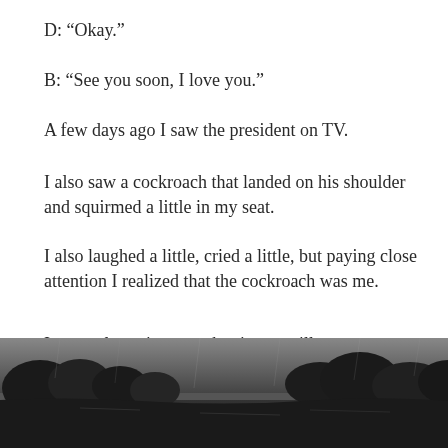D: “Okay.”
B: “See you soon, I love you.”
A few days ago I saw the president on TV.
I also saw a cockroach that landed on his shoulder and squirmed a little in my seat.
I also laughed a little, cried a little, but paying close attention I realized that the cockroach was me.
It was a long time ago, but it was still me.
I guess I am what you call a celebrity.
[Figure (photo): Black and white photograph of a dark landscape with trees and water, taken in rainy or misty conditions]